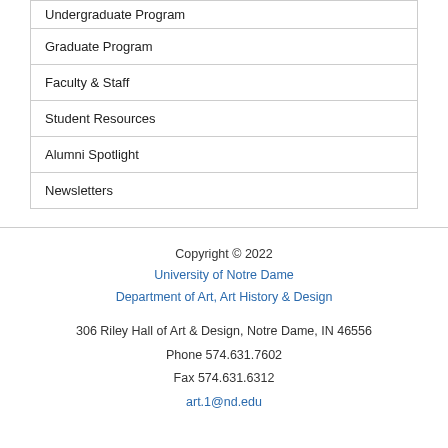Undergraduate Program
Graduate Program
Faculty & Staff
Student Resources
Alumni Spotlight
Newsletters
Copyright © 2022
University of Notre Dame
Department of Art, Art History & Design
306 Riley Hall of Art & Design, Notre Dame, IN 46556
Phone 574.631.7602
Fax 574.631.6312
art.1@nd.edu